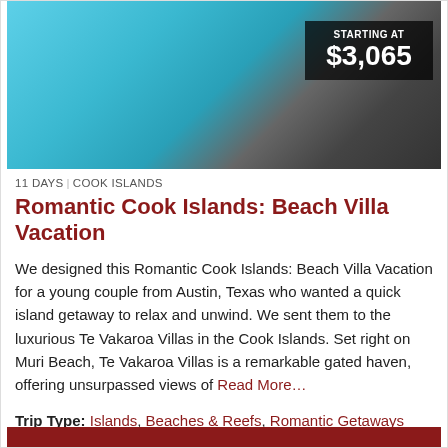[Figure (photo): Aerial/side view of a luxury resort pool in turquoise blue alongside a wooden deck with lounge chairs and outdoor furniture, with a price overlay badge showing 'STARTING AT $3,065']
11 DAYS | COOK ISLANDS
Romantic Cook Islands: Beach Villa Vacation
We designed this Romantic Cook Islands: Beach Villa Vacation for a young couple from Austin, Texas who wanted a quick island getaway to relax and unwind. We sent them to the luxurious Te Vakaroa Villas in the Cook Islands. Set right on Muri Beach, Te Vakaroa Villas is a remarkable gated haven, offering unsurpassed views of Read More…
Trip Type: Islands, Beaches & Reefs, Romantic Getaways